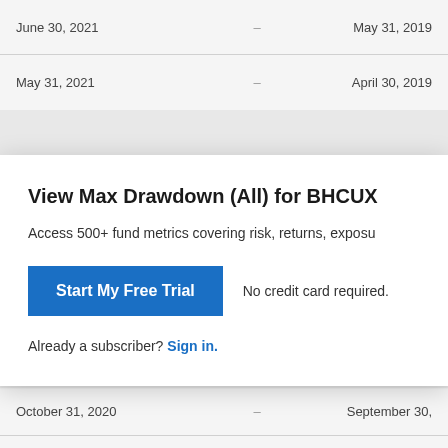| June 30, 2021 | -- | May 31, 2019 |
| May 31, 2021 | -- | April 30, 2019 |
| November 30, 2020 | -- | October 31, 20... |
| October 31, 2020 | -- | September 30, ... |
| September 30, 2020 | -- | August 31, 2018 |
| August 31, 2020 | -- | July 31, 2018 |
View Max Drawdown (All) for BHCUX
Access 500+ fund metrics covering risk, returns, exposu...
Start My Free Trial
No credit card required.
Already a subscriber? Sign in.